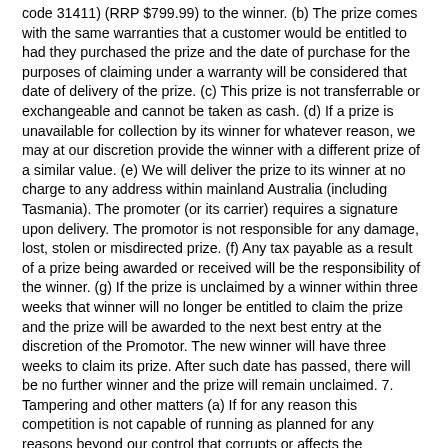code 31411) (RRP $799.99) to the winner. (b) The prize comes with the same warranties that a customer would be entitled to had they purchased the prize and the date of purchase for the purposes of claiming under a warranty will be considered that date of delivery of the prize. (c) This prize is not transferrable or exchangeable and cannot be taken as cash. (d) If a prize is unavailable for collection by its winner for whatever reason, we may at our discretion provide the winner with a different prize of a similar value. (e) We will deliver the prize to its winner at no charge to any address within mainland Australia (including Tasmania). The promoter (or its carrier) requires a signature upon delivery. The promotor is not responsible for any damage, lost, stolen or misdirected prize. (f) Any tax payable as a result of a prize being awarded or received will be the responsibility of the winner. (g) If the prize is unclaimed by a winner within three weeks that winner will no longer be entitled to claim the prize and the prize will be awarded to the next best entry at the discretion of the Promotor. The new winner will have three weeks to claim its prize. After such date has passed, there will be no further winner and the prize will remain unclaimed. 7. Tampering and other matters (a) If for any reason this competition is not capable of running as planned for any reasons beyond our control that corrupts or affects the administration, security, fairness, integrity or proper conduct of this competition, we reserve the right to cancel, terminate, modify or suspend the competition. (b) We do not accept any responsibility for any late, lost or misdirected entries. 8. Personal information and privacy The information you are asked to provide to the Promotor is personal information and is protected by the Privacy Act 1988. The Promotor will not disclose this information to other parties other than in accordance with such Privacy Acts. All entries become the property of the Promoter. 9. Limitation of liability The Promoter shall not be liable for any loss or damage whatsoever which is suffered, including but not limited to, indirect...